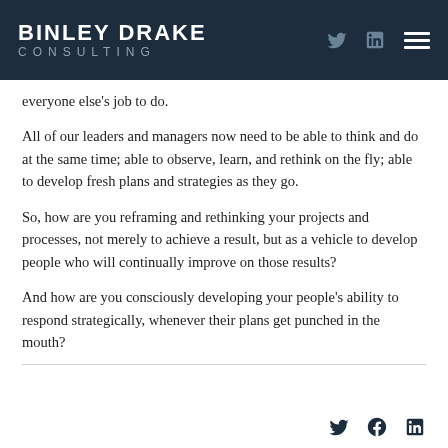BINLEY DRAKE CONSULTING
everyone else’s job to do.
All of our leaders and managers now need to be able to think and do at the same time; able to observe, learn, and rethink on the fly; able to develop fresh plans and strategies as they go.
So, how are you reframing and rethinking your projects and processes, not merely to achieve a result, but as a vehicle to develop people who will continually improve on those results?
And how are you consciously developing your people’s ability to respond strategically, whenever their plans get punched in the mouth?
Twitter, Facebook, LinkedIn icons